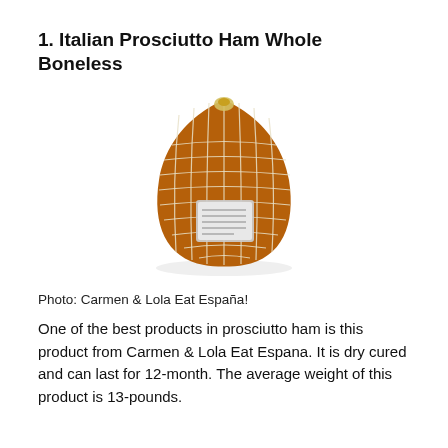1. Italian Prosciutto Ham Whole Boneless
[Figure (photo): A whole boneless Italian prosciutto ham wrapped in a white netting, showing the dark brown cured meat surface beneath. A label is visible on the front of the ham.]
Photo: Carmen & Lola Eat España!
One of the best products in prosciutto ham is this product from Carmen & Lola Eat Espana. It is dry cured and can last for 12-month. The average weight of this product is 13-pounds.